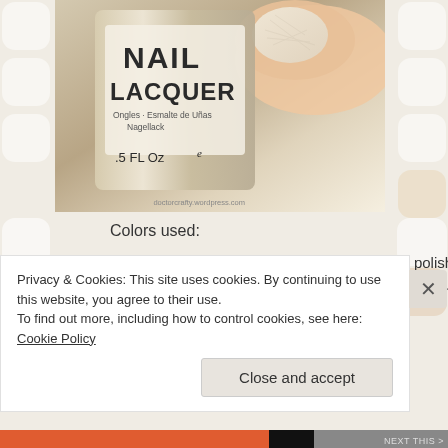[Figure (photo): Close-up photo of OPI nail lacquer bottle with stamped nude nail in background. Bottle text reads 'NAIL LACQUER', 'Ongles Esmalte de Uñas Nagellack', '0.5 FL Oz'. Watermark reads 'doctorcrafty.wordpress.com']
Colors used:
Base: OPI Mimosas for Mr & Mrs, my favorite nude polish! This was actually the very first non-drugstore polish I ever bought (and as a result, definitely needed some thinner!)
Stamping Plate: MoYou London Pro XL 06
Privacy & Cookies: This site uses cookies. By continuing to use this website, you agree to their use.
To find out more, including how to control cookies, see here: Cookie Policy
Close and accept